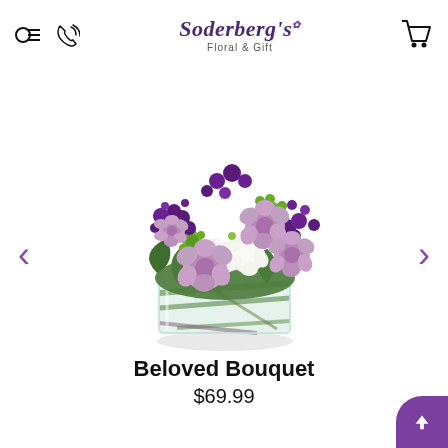Soderberg's Floral & Gift — navigation header
[Figure (photo): A lush floral bouquet arrangement featuring lavender/purple roses, deep purple stock flowers, white carnations, green button mums, green hypericum berries, and assorted greenery arranged in a square glass vase lined with green leaves.]
Beloved Bouquet
$69.99